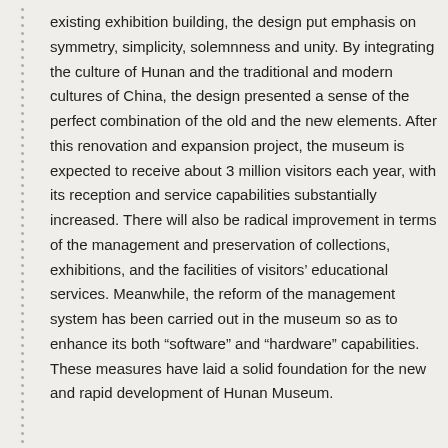existing exhibition building, the design put emphasis on symmetry, simplicity, solemnness and unity. By integrating the culture of Hunan and the traditional and modern cultures of China, the design presented a sense of the perfect combination of the old and the new elements. After this renovation and expansion project, the museum is expected to receive about 3 million visitors each year, with its reception and service capabilities substantially increased. There will also be radical improvement in terms of the management and preservation of collections, exhibitions, and the facilities of visitors' educational services. Meanwhile, the reform of the management system has been carried out in the museum so as to enhance its both “software” and “hardware” capabilities. These measures have laid a solid foundation for the new and rapid development of Hunan Museum.